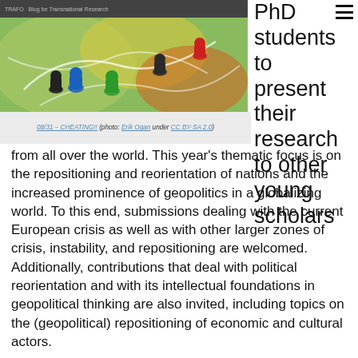[Figure (photo): Top-left photo of board game pieces (colored meeples) on a game board, with a dark header bar showing TRAFO Blog for Transnational Research logo text]
08/31 – CHEATING!! (photo: Erik Ogan under CC BY-SA 2.0)
PhD students to present their research to other young scholars from all over the world. This year's thematic focus is on the repositioning and reorientation of nations and the increased prominence of geopolitics in a globalizing world. To this end, submissions dealing with the current European crisis as well as with other larger zones of crisis, instability, and repositioning are welcomed. Additionally, contributions that deal with political reorientation and with its intellectual foundations in geopolitical thinking are also invited, including topics on the (geopolitical) repositioning of economic and cultural actors.